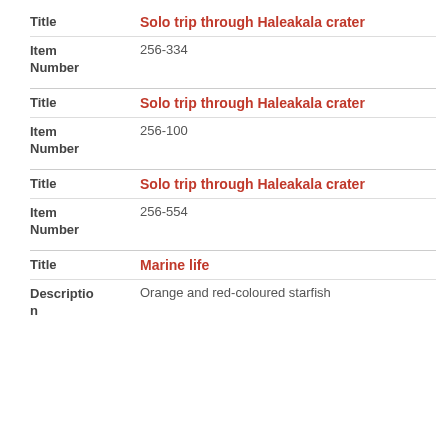| Field | Value |
| --- | --- |
| Title | Solo trip through Haleakala crater |
| Item Number | 256-334 |
| Field | Value |
| --- | --- |
| Title | Solo trip through Haleakala crater |
| Item Number | 256-100 |
| Field | Value |
| --- | --- |
| Title | Solo trip through Haleakala crater |
| Item Number | 256-554 |
| Field | Value |
| --- | --- |
| Title | Marine life |
| Description | Orange and red-coloured starfish |